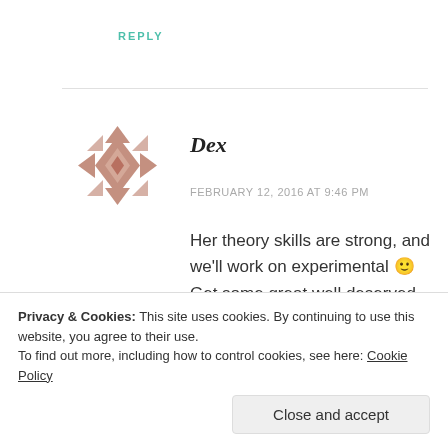REPLY
[Figure (illustration): Geometric avatar icon made of diamond/triangle shapes in muted rose/mauve color]
Dex
FEBRUARY 12, 2016 AT 9:46 PM
Her theory skills are strong, and we'll work on experimental 🙂 Get some great well deserved rest tonight!
Privacy & Cookies: This site uses cookies. By continuing to use this website, you agree to their use.
To find out more, including how to control cookies, see here: Cookie Policy
Close and accept